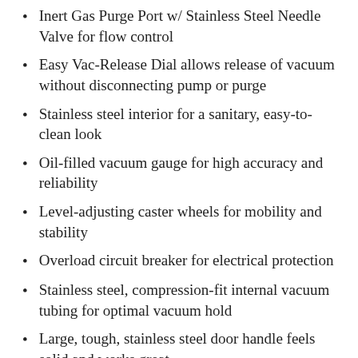Inert Gas Purge Port w/ Stainless Steel Needle Valve for flow control
Easy Vac-Release Dial allows release of vacuum without disconnecting pump or purge
Stainless steel interior for a sanitary, easy-to-clean look
Oil-filled vacuum gauge for high accuracy and reliability
Level-adjusting caster wheels for mobility and stability
Overload circuit breaker for electrical protection
Stainless steel, compression-fit internal vacuum tubing for optimal vacuum hold
Large, tough, stainless steel door handle feels solid and works great
Direct shelf heat technology features shelves with encapsulated heating elements for precision heat delivery
Wide shelf spacing – over 3 inches (3.2cf) / 3.5 inches